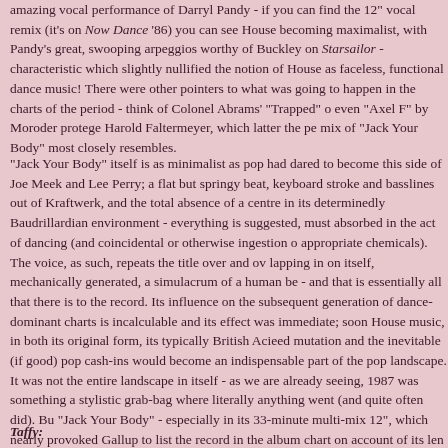amazing vocal performance of Darryl Pandy - if you can find the 12" vocal remix (it's on Now Dance '86) you can see House becoming maximalist, with Pandy's great, swooping arpeggios worthy of Buckley on Starsailor - a characteristic which slightly nullified the notion of House as faceless, functional dance music! There were other pointers to what was going to happen in the charts of the period - think of Colonel Abrams' "Trapped" or even "Axel F" by Moroder protege Harold Faltermeyer, which latter the primary mix of "Jack Your Body" most closely resembles.
"Jack Your Body" itself is as minimalist as pop had dared to become this side of Joe Meek and Lee Perry; a flat but springy beat, keyboard strokes and basslines out of Kraftwerk, and the total absence of a centre in its determinedly Baudrillardian environment - everything is suggested, must be absorbed in the act of dancing (and coincidental or otherwise ingestion of appropriate chemicals). The voice, as such, repeats the title over and over, lapping in on itself, mechanically generated, a simulacrum of a human being - and that is essentially all that there is to the record. Its influence on the subsequent generation of dance-dominant charts is incalculable and its effect was immediate; soon House music, in both its original form, its typically British Acieed mutation and the inevitable (if good) pop cash-ins, would become an indispensable part of the pop landscape. It was not the entire landscape in itself - as we are already seeing, 1987 was something of a stylistic grab-bag where literally anything went (and quite often did). But "Jack Your Body" - especially in its 33-minute multi-mix 12", which nearly provoked Gallup to list the record in the album chart on account of its length - is the beginning of a new time, and much of what is to follow has to be viewed in its immense and far-reaching light. On the other hand, its structure takes us back to the fifties and what, in both rhythm and words, what rock 'n' roll was always supposed to be about in the first place.
Taffy: